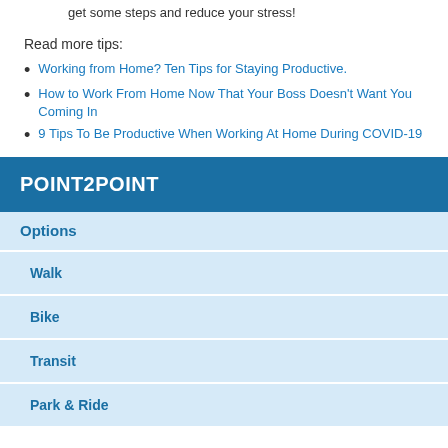4. Move around, stretch, or have an impromptu dance party to get some steps and reduce your stress!
Read more tips:
Working from Home? Ten Tips for Staying Productive.
How to Work From Home Now That Your Boss Doesn't Want You Coming In
9 Tips To Be Productive When Working At Home During COVID-19
POINT2POINT
| Options |
| --- |
| Walk |
| Bike |
| Transit |
| Park & Ride |